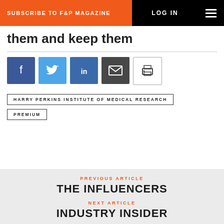SUBSCRIBE TO F&P MAGAZINE | LOG IN
them and keep them
[Figure (infographic): Social sharing buttons: Facebook (dark blue), Twitter (light blue), LinkedIn (blue), Email (dark grey), Print (white with border)]
HARRY PERKINS INSTITUTE OF MEDICAL RESEARCH
PREMIUM
PREVIOUS ARTICLE
THE INFLUENCERS
NEXT ARTICLE
INDUSTRY INSIDER